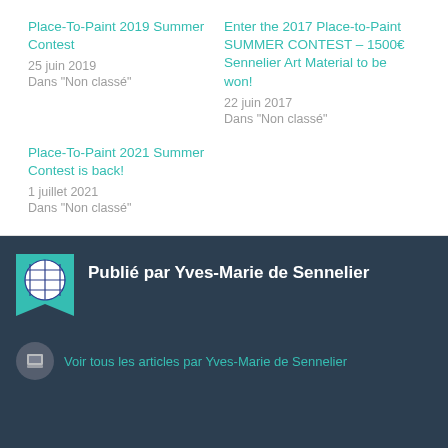Place-To-Paint 2019 Summer Contest
25 juin 2019
Dans "Non classé"
Enter the 2017 Place-to-Paint SUMMER CONTEST – 1500€ Sennelier Art Material to be won!
22 juin 2017
Dans "Non classé"
Place-To-Paint 2021 Summer Contest is back!
1 juillet 2021
Dans "Non classé"
Publié par Yves-Marie de Sennelier
Voir tous les articles par Yves-Marie de Sennelier